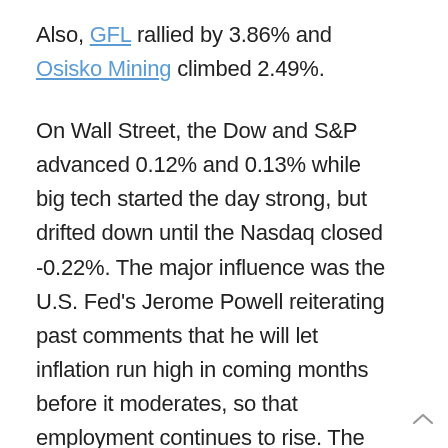Also, GFL rallied by 3.86% and Osisko Mining climbed 2.49%.
On Wall Street, the Dow and S&P advanced 0.12% and 0.13% while big tech started the day strong, but drifted down until the Nasdaq closed -0.22%. The major influence was the U.S. Fed's Jerome Powell reiterating past comments that he will let inflation run high in coming months before it moderates, so that employment continues to rise. The U.S. 10-year yield retreated below 1.4%. The day's winners